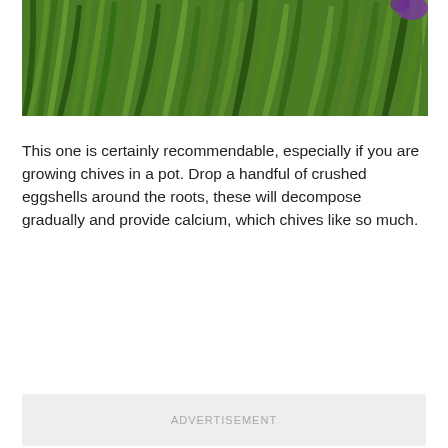[Figure (photo): Close-up photo of green chive plants growing densely, with long slender blades. A purple flower is partially visible in the top right corner.]
This one is certainly recommendable, especially if you are growing chives in a pot. Drop a handful of crushed eggshells around the roots, these will decompose gradually and provide calcium, which chives like so much.
[Figure (other): Advertisement placeholder box with light grey background and 'ADVERTISEMENT' text centered.]